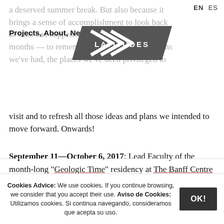EN  ES
[Figure (logo): Latitudes logo — dark grey trapezoid with white chevron stripes and 'LATITUDES' text]
a deserved summer break. But also because it brings a sense of accomplishment to look back at what has happened during the last twelve months — to remember the many conversations
Projects, About, Newsletters, Longitudes.
we've had, the places we've been privileged to visit and to refresh all those ideas and plans we intended to move forward. Onwards!
September 11—October 6, 2017: Lead Faculty of the month-long "Geologic Time" residency at The Banff Centre for Arts and Creativity in Alberta, Canada.
Cookies Advice: We use cookies. If you continue browsing, we consider that you accept their use. Aviso de Cookies: Utilizamos cookies. Si continua navegando, consideramos que acepta su uso.